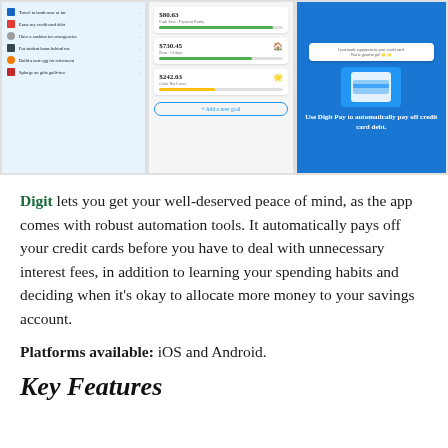[Figure (screenshot): Three mobile app screenshots of the Digit app showing: (left) a list of financial goals including travel, credit card debt, emergencies, student loans, retirement, and guilt-free spending; (middle) savings goals with amounts $80.63, $730.45, $242.03 with progress bars and an 'Add a new goal' button; (right) blue screen showing a payment notification and 'Use Digit Pay to automatically pay off credit card debt.' text]
Digit lets you get your well-deserved peace of mind, as the app comes with robust automation tools. It automatically pays off your credit cards before you have to deal with unnecessary interest fees, in addition to learning your spending habits and deciding when it's okay to allocate more money to your savings account.
Platforms available: iOS and Android.
Key Features